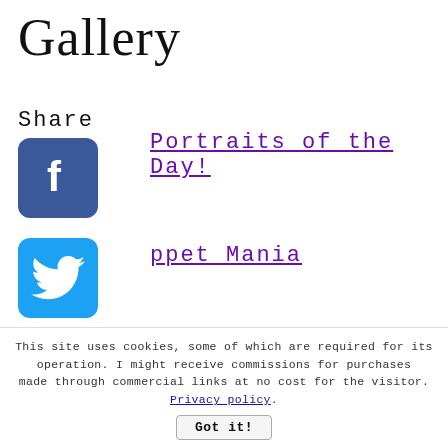Gallery
Share
[Figure (illustration): Facebook social share icon - blue rounded square with white F logo]
Portraits of the Day!
[Figure (illustration): Twitter social share icon - blue rounded square with white bird logo]
ppet Mania
[Figure (illustration): Pinterest social share icon - red rounded square with white P logo]
r Stories
[Figure (illustration): Tumblr social share icon - dark blue rounded square with white t logo]
r Poems
[Figure (illustration): Reddit social share icon - orange rounded square with white alien logo]
r a Whippet?
[Figure (illustration): WhatsApp social share icon - green rounded square with white phone logo]
This site uses cookies, some of which are required for its operation. I might receive commissions for purchases made through commercial links at no cost for the visitor. Privacy policy. Got it!